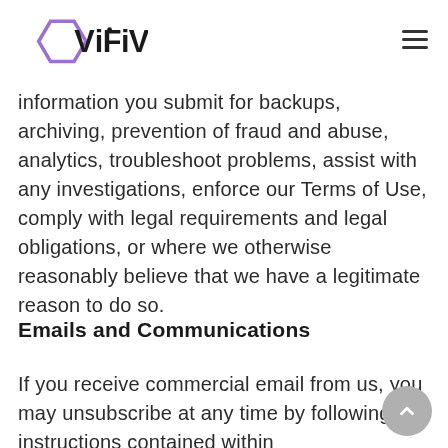[Figure (logo): ViFiVE logo with purple hexagon outline and bold sans-serif text]
information you submit for backups, archiving, prevention of fraud and abuse, analytics, troubleshoot problems, assist with any investigations, enforce our Terms of Use, comply with legal requirements and legal obligations, or where we otherwise reasonably believe that we have a legitimate reason to do so.
Emails and Communications
If you receive commercial email from us, you may unsubscribe at any time by following the instructions contained within